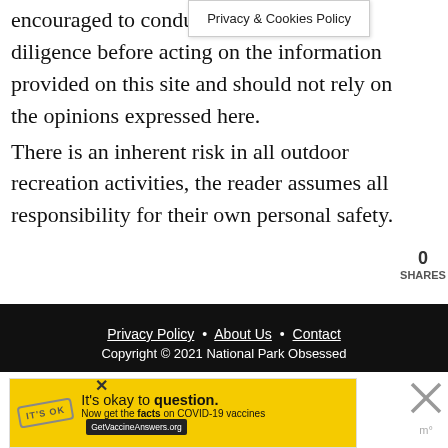Privacy & Cookies Policy
encouraged to conduct their own due diligence before acting on the information provided on this site and should not rely on the opinions expressed here.
There is an inherent risk in all outdoor recreation activities, the reader assumes all responsibility for their own personal safety.
0
SHARES
Privacy Policy • About Us • Contact
Copyright © 2021 National Park Obsessed
Exclusive Member of Mediavine Travel
[Figure (other): Advertisement banner with yellow background. Text: 'It's okay to question. Now get the facts on COVID-19 vaccines GetVaccineAnswers.org']